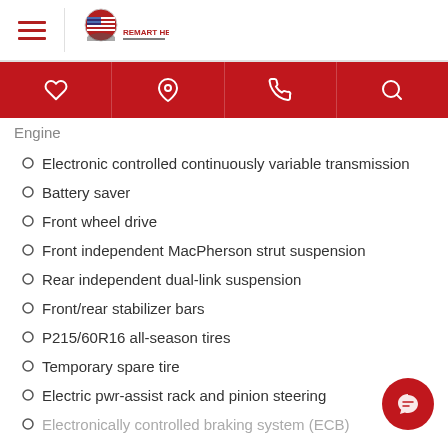Remart Helena - Logo and navigation
Engine
Electronic controlled continuously variable transmission
Battery saver
Front wheel drive
Front independent MacPherson strut suspension
Rear independent dual-link suspension
Front/rear stabilizer bars
P215/60R16 all-season tires
Temporary spare tire
Electric pwr-assist rack and pinion steering
Electronically controlled braking system (ECB)